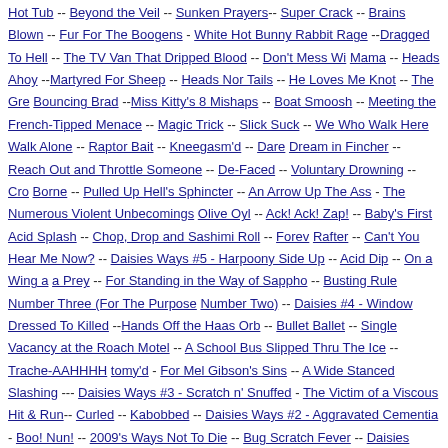Hot Tub -- Beyond the Veil -- Sunken Prayers-- Super Crack -- Brains Blown -- Fur For The Boogens - White Hot Bunny Rabbit Rage --Dragged To Hell -- The TV Van That Dripped Blood -- Don't Mess Wi Mama -- Heads Ahoy --Martyred For Sheep -- Heads Nor Tails -- He Loves Me Knot -- The Gre Bouncing Brad --Miss Kitty's 8 Mishaps -- Boat Smoosh -- Meeting the French-Tipped Menace -- Magic Trick -- Slick Suck -- We Who Walk Here Walk Alone -- Raptor Bait -- Kneegasm'd -- Dare Dream in Fincher -- Reach Out and Throttle Someone -- De-Faced -- Voluntary Drowning -- Cro Borne -- Pulled Up Hell's Sphincter -- An Arrow Up The Ass - The Numerous Violent Unbecomings Olive Oyl -- Ack! Ack! Zap! -- Baby's First Acid Splash -- Chop, Drop and Sashimi Roll -- Forev Rafter -- Can't You Hear Me Now? -- Daisies Ways #5 - Harpoony Side Up -- Acid Dip -- On a Wing a a Prey -- For Standing in the Way of Sappho -- Busting Rule Number Three (For The Purpose Number Two) -- Daisies #4 - Window Dressed To Killed --Hands Off the Haas Orb -- Bullet Ballet -- Single Vacancy at the Roach Motel -- A School Bus Slipped Thru The Ice -- Trache-AAHHHH tomy'd - For Mel Gibson's Sins -- A Wide Stanced Slashing --- Daisies Ways #3 - Scratch n' Snuffed - The Victim of a Viscous Hit & Run-- Curled -- Kabobbed -- Daisies Ways #2 - Aggravated Cementia - Boo! Nun! -- 2009's Ways Not To Die -- Bug Scratch Fever -- Daisies Ways #1 - Deep Fat Fried in M Own Unique Blend of 500 Herbs & Spices -- By the Yard End of the Stick -- Screwed From A Very Gre Distance-- A Righteous Bear-Jew Beatdown -- Fisted By Hugo Sitglitz -- Xeno Morphed -- Fuck-Stuc - A Vengeful Elevator God: Part 4 -- Lava Bombed -- The Cradle Will Rock... Your Face Off!!! -- T Food of the Nilbog Goblins -- The Slugs Is Gonna Gitcha -- Phone Shark -- Hide The Carrot -- Sarla Snacked -- Avada Kedavra!!! -- Hooked, Lined and Sinkered -- 'The Libyans!' -- Axe Me No Questions